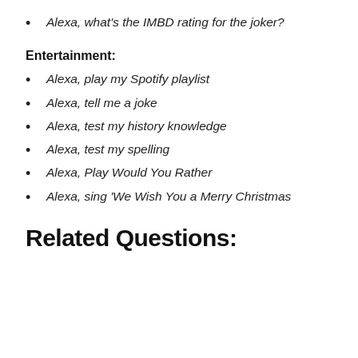Alexa, what's the IMBD rating for the joker?
Entertainment:
Alexa, play my Spotify playlist
Alexa, tell me a joke
Alexa, test my history knowledge
Alexa, test my spelling
Alexa, Play Would You Rather
Alexa, sing 'We Wish You a Merry Christmas
Related Questions: